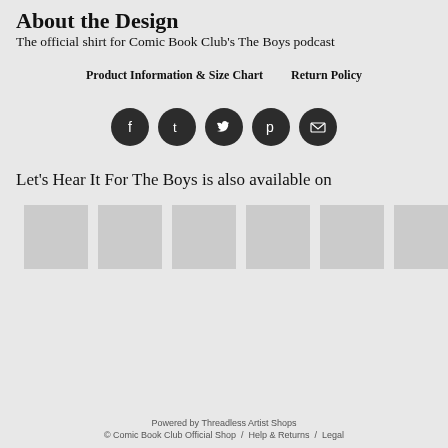About the Design
The official shirt for Comic Book Club's The Boys podcast
Product Information & Size Chart       Return Policy
[Figure (infographic): Five circular dark social media icons: Facebook, Tumblr, Twitter, Pinterest, Email]
Let's Hear It For The Boys is also available on
[Figure (infographic): Six grey placeholder thumbnail product image boxes]
Powered by Threadless Artist Shops
© Comic Book Club Official Shop  /  Help & Returns  /  Legal